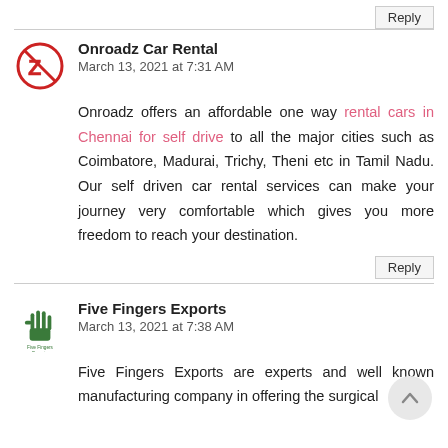Reply
[Figure (logo): Onroadz Car Rental logo: red Z with strikethrough circle]
Onroadz Car Rental
March 13, 2021 at 7:31 AM
Onroadz offers an affordable one way rental cars in Chennai for self drive to all the major cities such as Coimbatore, Madurai, Trichy, Theni etc in Tamil Nadu. Our self driven car rental services can make your journey very comfortable which gives you more freedom to reach your destination.
Reply
[Figure (logo): Five Fingers Exports logo: green hand icon with Five Fingers Exports text below]
Five Fingers Exports
March 13, 2021 at 7:38 AM
Five Fingers Exports are experts and well known manufacturing company in offering the surgical